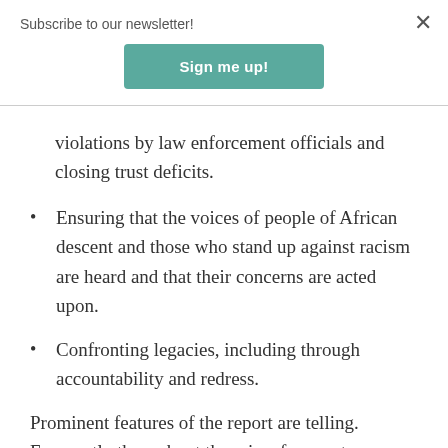Subscribe to our newsletter!
[Figure (other): Sign me up! button — teal/green rounded rectangle button for newsletter signup]
violations by law enforcement officials and closing trust deficits.
Ensuring that the voices of people of African descent and those who stand up against racism are heard and that their concerns are acted upon.
Confronting legacies, including through accountability and redress.
Prominent features of the report are telling. Frequently throughout there is reference to